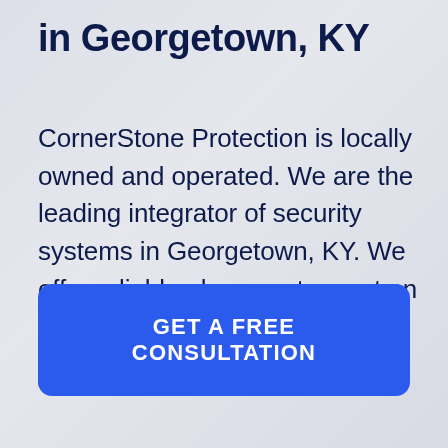in Georgetown, KY
CornerStone Protection is locally owned and operated. We are the leading integrator of security systems in Georgetown, KY. We offer reliable alarm systems at an affordable price in Georgetown.
GET A FREE CONSULTATION